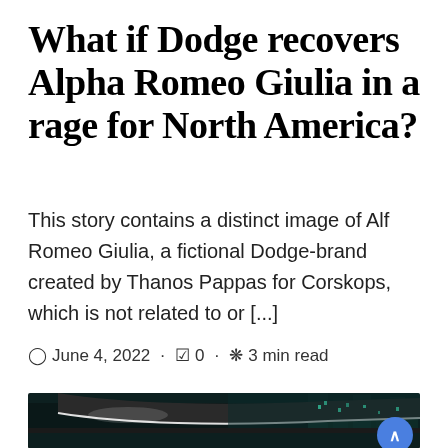What if Dodge recovers Alpha Romeo Giulia in a rage for North America?
This story contains a distinct image of Alf Romeo Giulia, a fictional Dodge-brand created by Thanos Pappas for Corskops, which is not related to or [...]
June 4, 2022 · 0 · 3 min read
[Figure (photo): Interior/exterior view of a car at night with city lights visible in background, dark teal and blue tones]